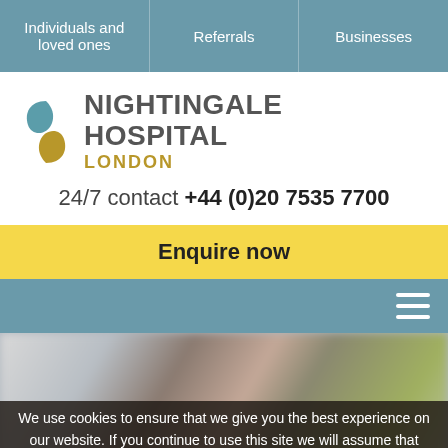Individuals and loved ones | Referrals | Businesses
[Figure (logo): Nightingale Hospital London logo with stylized S-curve icon in teal and gold]
24/7 contact +44 (0)20 7535 7700
Enquire now
[Figure (photo): Blurred close-up photo of a man's head and shoulders with a green plant visible in the background]
We use cookies to ensure that we give you the best experience on our website. If you continue to use this site we will assume that you are happy with it.